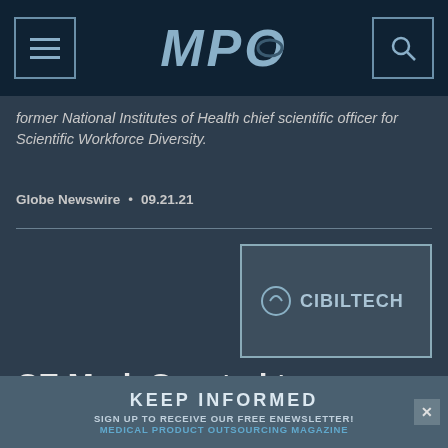MPO
former National Institutes of Health chief scientific officer for Scientific Workforce Diversity.
Globe Newswire  •  09.21.21
[Figure (logo): Cibiltech logo with circular icon and company name CIBILTECH in a bordered box]
CE Mark Granted to Predictive Software for Kidney Allograft Survival
Algorithm gives the probability the graft will still be
KEEP INFORMED
SIGN UP TO RECEIVE OUR FREE ENEWSLETTER!
MEDICAL PRODUCT OUTSOURCING MAGAZINE